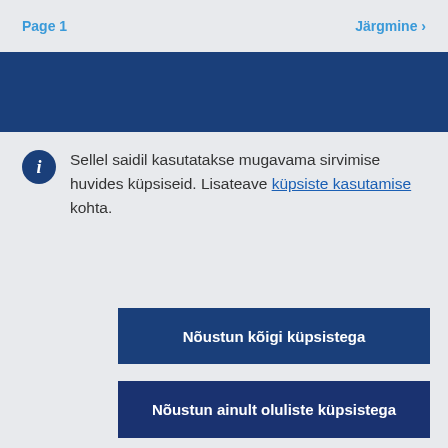Page 1   Järgmine >
[Figure (other): Dark navy blue banner bar]
Sellel saidil kasutatakse mugavama sirvimise huvides küpsiseid. Lisateave küpsiste kasutamise kohta.
Nõustun kõigi küpsistega
Nõustun ainult oluliste küpsistega